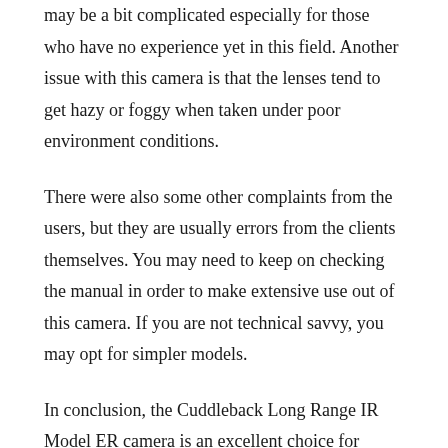may be a bit complicated especially for those who have no experience yet in this field. Another issue with this camera is that the lenses tend to get hazy or foggy when taken under poor environment conditions.
There were also some other complaints from the users, but they are usually errors from the clients themselves. You may need to keep on checking the manual in order to make extensive use out of this camera. If you are not technical savvy, you may opt for simpler models.
In conclusion, the Cuddleback Long Range IR Model ER camera is an excellent choice for scouting game and monitoring large properties. It has a fast trigger with a lightning speed that will cover any movement going on in the area. Plus, it comes at an affordable price which suits anyone even those who are on a limited budget.
Here are the products details of the Cuddleback Long Range IR Model ER camera: